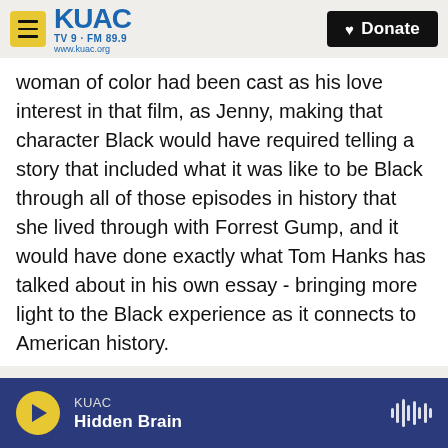KUAC TV9 · FM 89.9 www.kuac.org | Donate
woman of color had been cast as his love interest in that film, as Jenny, making that character Black would have required telling a story that included what it was like to be Black through all of those episodes in history that she lived through with Forrest Gump, and it would have done exactly what Tom Hanks has talked about in his own essay - bringing more light to the Black experience as it connects to American history.
I mean, Tom Hanks has talked about teachers in his essay, but in a lot of ways, he's a teacher. He's relating stories about what history matters in
KUAC | Hidden Brain